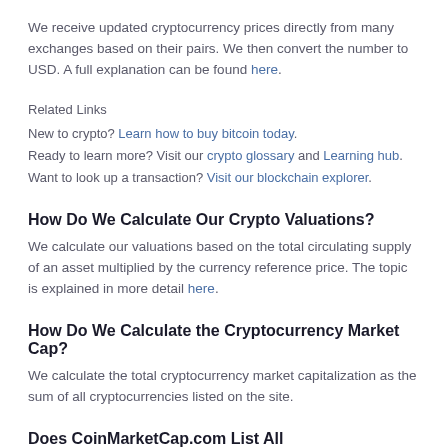We receive updated cryptocurrency prices directly from many exchanges based on their pairs. We then convert the number to USD. A full explanation can be found here.
Related Links
New to crypto? Learn how to buy bitcoin today.
Ready to learn more? Visit our crypto glossary and Learning hub.
Want to look up a transaction? Visit our blockchain explorer.
How Do We Calculate Our Crypto Valuations?
We calculate our valuations based on the total circulating supply of an asset multiplied by the currency reference price. The topic is explained in more detail here.
How Do We Calculate the Cryptocurrency Market Cap?
We calculate the total cryptocurrency market capitalization as the sum of all cryptocurrencies listed on the site.
Does CoinMarketCap.com List All Cryptocurrencies?
No, we do not list all cryptocurrencies at CoinMarketCap. As a company